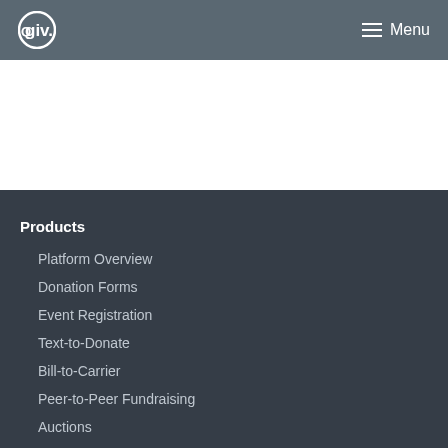Qgiv — Menu
Products
Platform Overview
Donation Forms
Event Registration
Text-to-Donate
Bill-to-Carrier
Peer-to-Peer Fundraising
Auctions